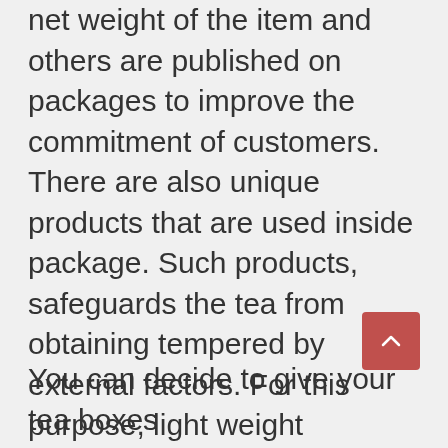net weight of the item and others are published on packages to improve the commitment of customers. There are also unique products that are used inside package. Such products, safeguards the tea from obtaining tempered by external factors. For this purpose, light weight aluminum foil is used. Everything about the tea boxes have been personalized to fit consumer's needs. They can also have areas, claps and home windows. All these aid customers to open and store the tea with lower initiative.
You can decide to give your tea boxes